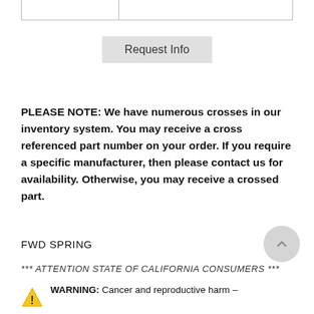|  |  |
| --- | --- |
|  |  |
Request Info
PLEASE NOTE: We have numerous crosses in our inventory system. You may receive a cross referenced part number on your order. If you require a specific manufacturer, then please contact us for availability. Otherwise, you may receive a crossed part.
FWD SPRING
*** ATTENTION STATE OF CALIFORNIA CONSUMERS ***
WARNING: Cancer and reproductive harm –